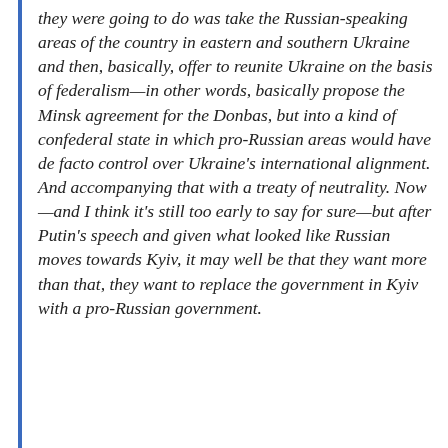they were going to do was take the Russian-speaking areas of the country in eastern and southern Ukraine and then, basically, offer to reunite Ukraine on the basis of federalism—in other words, basically propose the Minsk agreement for the Donbas, but into a kind of confederal state in which pro-Russian areas would have de facto control over Ukraine's international alignment. And accompanying that with a treaty of neutrality. Now—and I think it's still too early to say for sure—but after Putin's speech and given what looked like Russian moves towards Kyiv, it may well be that they want more than that, they want to replace the government in Kyiv with a pro-Russian government.